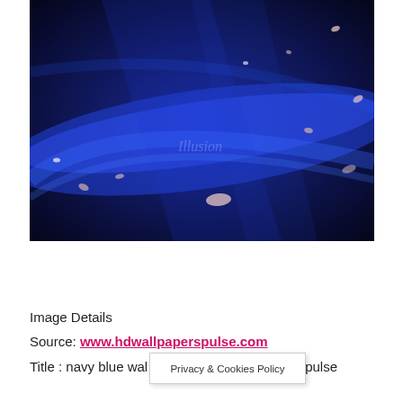[Figure (photo): Navy blue abstract wallpaper with glowing blue light beams, floating pink petals/particles on a dark blue background, with faint text 'Illusion' visible in the center]
DOWNLOAD
Image Details
Source: www.hdwallpaperspulse.com
Title : navy blue wal...pulse
Privacy & Cookies Policy